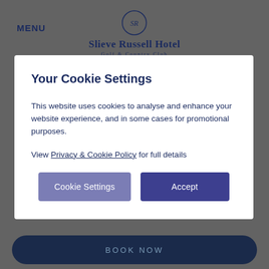MENU | Slieve Russell Hotel Golf & Country Club
Your Cookie Settings
This website uses cookies to analyse and enhance your website experience, and in some cases for promotional purposes.
View Privacy & Cookie Policy for full details
Cookie Settings | Accept
BOOK NOW